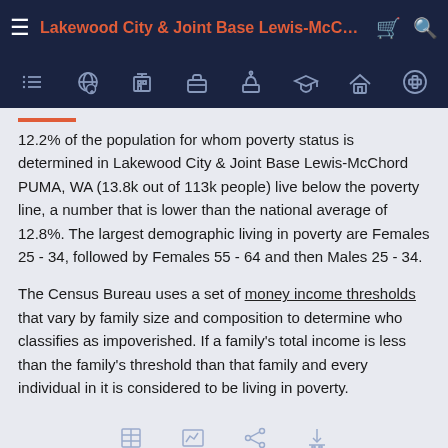Lakewood City & Joint Base Lewis-McChor…
12.2% of the population for whom poverty status is determined in Lakewood City & Joint Base Lewis-McChord PUMA, WA (13.8k out of 113k people) live below the poverty line, a number that is lower than the national average of 12.8%. The largest demographic living in poverty are Females 25 - 34, followed by Females 55 - 64 and then Males 25 - 34.
The Census Bureau uses a set of money income thresholds that vary by family size and composition to determine who classifies as impoverished. If a family's total income is less than the family's threshold than that family and every individual in it is considered to be living in poverty.